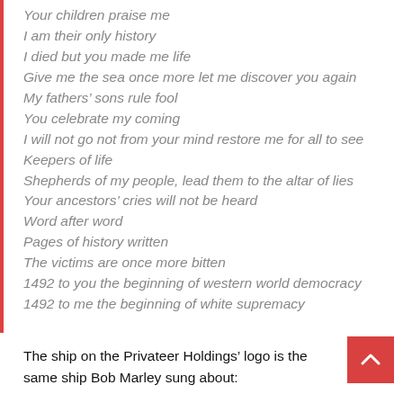Your children praise me
I am their only history
I died but you made me life
Give me the sea once more let me discover you again
My fathers’ sons rule fool
You celebrate my coming
I will not go not from your mind restore me for all to see
Keepers of life
Shepherds of my people, lead them to the altar of lies
Your ancestors’ cries will not be heard
Word after word
Pages of history written
The victims are once more bitten
1492 to you the beginning of western world democracy
1492 to me the beginning of white supremacy
The ship on the Privateer Holdings’ logo is the same ship Bob Marley sung about: